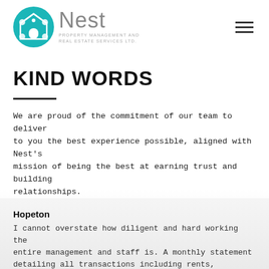Nest Property Management and Real Estate Services Ltd.
KIND WORDS
We are proud of the commitment of our team to deliver to you the best experience possible, aligned with Nest's mission of being the best at earning trust and building relationships.
Hopeton
I cannot overstate how diligent and hard working the entire management and staff is. A monthly statement detailing all transactions including rents, invoices for